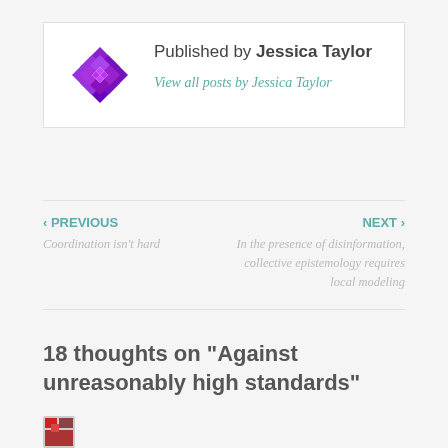[Figure (illustration): Purple geometric quilt-pattern avatar for Jessica Taylor]
Published by Jessica Taylor
View all posts by Jessica Taylor
‹ PREVIOUS
Coordination isn't hard
NEXT ›
In the presence of disinformation, collective epistemology requires local modeling
18 thoughts on “Against unreasonably high standards”
[Figure (illustration): Small red/dark avatar icon at bottom left]